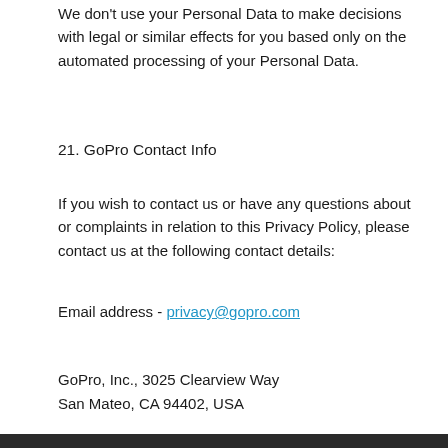We don't use your Personal Data to make decisions with legal or similar effects for you based only on the automated processing of your Personal Data.
21. GoPro Contact Info
If you wish to contact us or have any questions about or complaints in relation to this Privacy Policy, please contact us at the following contact details:
Email address - privacy@gopro.com
GoPro, Inc., 3025 Clearview Way
San Mateo, CA 94402, USA